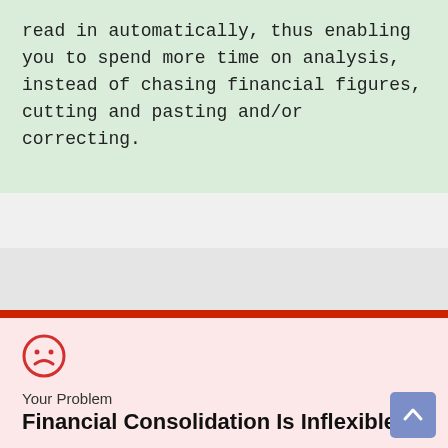read in automatically, thus enabling you to spend more time on analysis, instead of chasing financial figures, cutting and pasting and/or correcting.
[Figure (illustration): Red circle with a sad/frowning face emoticon icon]
Your Problem
Financial Consolidation Is Inflexible
The organisation continues to grow and more and more companies are added, or merged. The consolidation schedule and reporting must be adjusted, which is very time-consuming and often